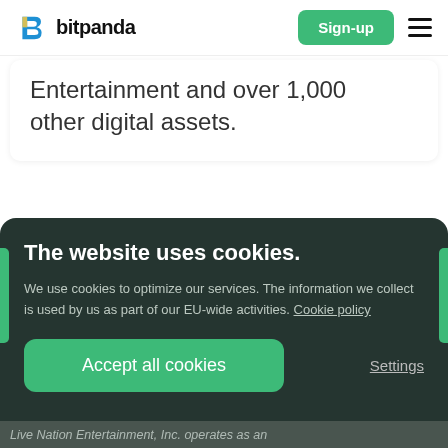[Figure (logo): Bitpanda logo with blue-yellow B icon and 'bitpanda' wordmark, plus Sign-up button and hamburger menu]
Entertainment and over 1,000 other digital assets.
The website uses cookies.
We use cookies to optimize our services. The information we collect is used by us as part of our EU-wide activities. Cookie policy
Accept all cookies
Settings
Live Nation Entertainment, Inc. operates as an